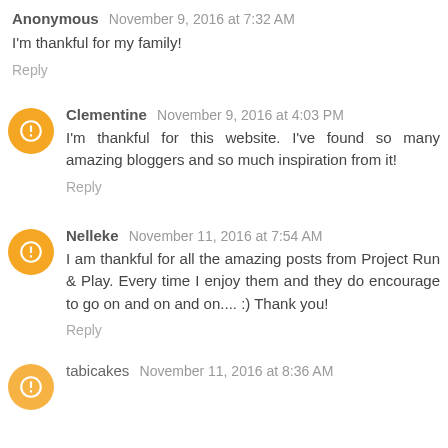Anonymous November 9, 2016 at 7:32 AM
I'm thankful for my family!
Reply
Clementine November 9, 2016 at 4:03 PM
I'm thankful for this website. I've found so many amazing bloggers and so much inspiration from it!
Reply
Nelleke November 11, 2016 at 7:54 AM
I am thankful for all the amazing posts from Project Run & Play. Every time I enjoy them and they do encourage to go on and on and on.... :) Thank you!
Reply
tabicakes November 11, 2016 at 8:36 AM